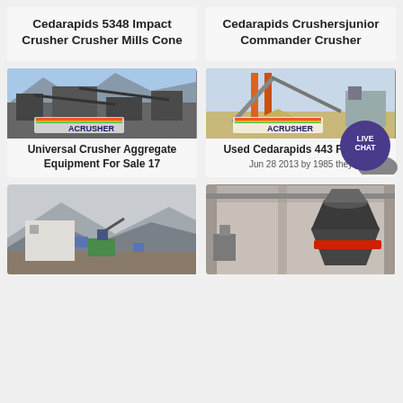Cedarapids 5348 Impact Crusher Crusher Mills Cone
Cedarapids Crushersjunior Commander Crusher
[Figure (photo): Aerial view of a large industrial aggregate/crushing plant with conveyor belts, machinery and rock piles, with ACRUSHER logo watermark]
Universal Crusher Aggregate Equipment For Sale 17
[Figure (photo): Industrial crushing and conveyor equipment with orange crane/structure against pale sky, with ACRUSHER logo watermark]
Used Cedarapids 443 For Sale
Jun 28 2013 by 1985 they
[Figure (photo): Outdoor mining/crushing site with mountains and hazy sky, large machinery visible]
[Figure (photo): Indoor industrial facility showing a large cone crusher machine with red ring, inside a warehouse/building]